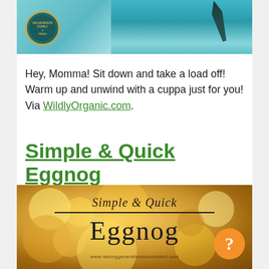[Figure (photo): Top banner image with teal/aqua background and a circular Wilderness Family Naturals logo on the left, with dark feather/plant motifs on the right side]
Hey, Momma! Sit down and take a load off! Warm up and unwind with a cuppa just for you! Via WildlyOrganic.com.
Simple & Quick Eggnog
[Figure (photo): Golden bokeh background image with text overlay reading 'Simple & Quick Eggnog' in script and serif fonts, with URL www.raisinggenerationsnourished.com at the bottom and an orange help bubble with question mark in the lower right corner]